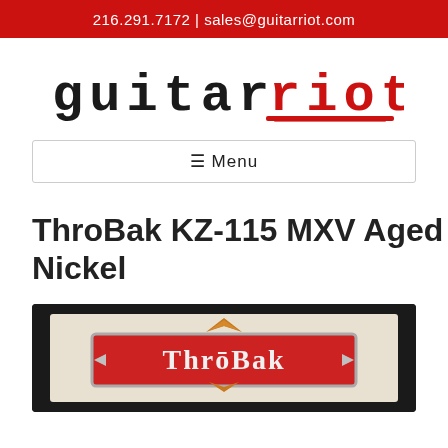216.291.7172 | sales@guitarriot.com
[Figure (logo): Guitar Riot logo — 'guitar' in black distressed typewriter font, 'riot' in red distressed typewriter font with red underline scratch]
☰ Menu
ThroBak KZ-115 MXV Aged Nickel
[Figure (photo): ThroBak branded product box/packaging showing the ThroBak logo with decorative diamond and chevron design on a dark background]